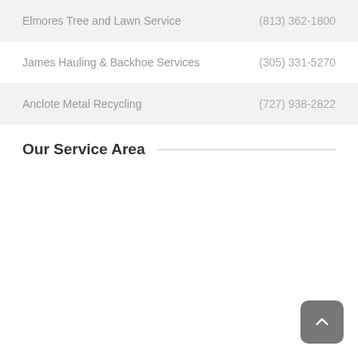Elmores Tree and Lawn Service  (813) 362-1800
James Hauling & Backhoe Services  (305) 331-5270
Anclote Metal Recycling  (727) 938-2822
Our Service Area